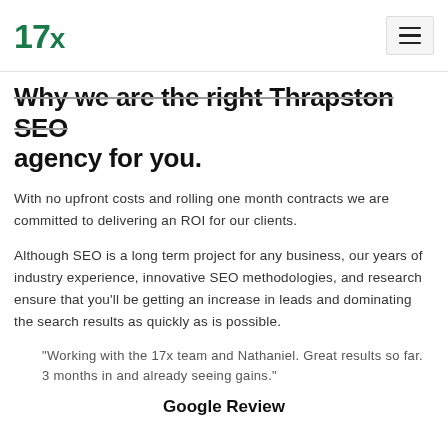17x
Why we are the right Thrapston SEO agency for you.
With no upfront costs and rolling one month contracts we are committed to delivering an ROI for our clients.
Although SEO is a long term project for any business, our years of industry experience, innovative SEO methodologies, and research ensure that you'll be getting an increase in leads and dominating the search results as quickly as is possible.
“Working with the 17x team and Nathaniel. Great results so far. 3 months in and already seeing gains.”
Google Review